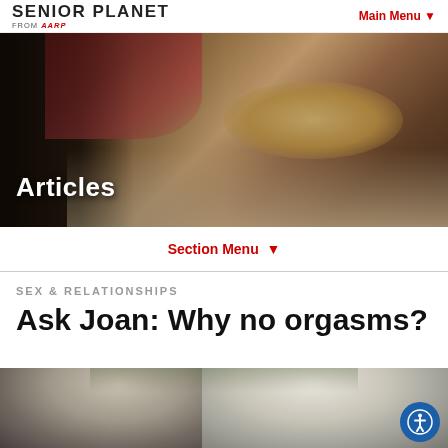SENIOR PLANET FROM AARP | Main Menu
[Figure (photo): Hero banner photo showing hands with a watch resting near a keyboard, glasses on a newspaper, wooden table background. White text overlay reads 'Articles'.]
Articles
Section Menu
SEX & RELATIONSHIPS
Ask Joan: Why no orgasms?
[Figure (photo): Photo showing the back of two people's heads with grey/white hair, suggesting an older couple, outdoors with green background.]